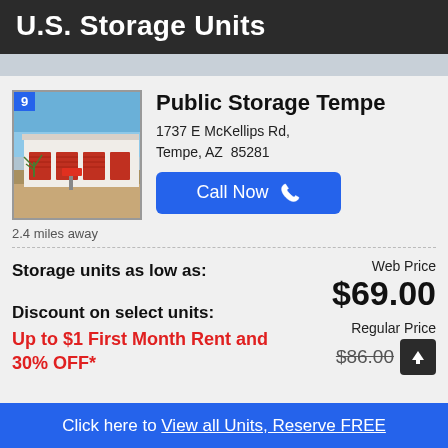U.S. Storage Units
[Figure (photo): Exterior photo of Public Storage facility in Tempe, AZ — single-story building with red doors, blue sky, desert landscaping]
Public Storage Tempe
1737 E McKellips Rd, Tempe, AZ  85281
Call Now
2.4 miles away
Storage units as low as:
Web Price
$69.00
Discount on select units:
Regular Price
$86.00
Up to $1 First Month Rent and 30% OFF*
Click here to View all Units, Reserve FREE